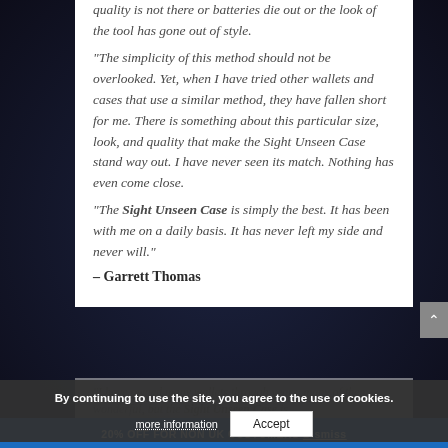quality is not there or batteries die out or the look of the tool has gone out of style.
“The simplicity of this method should not be overlooked. Yet, when I have tried other wallets and cases that use a similar method, they have fallen short for me. There is something about this particular size, look, and quality that make the Sight Unseen Case stand way out. I have never seen its match. Nothing has even come close.
“The Sight Unseen Case is simply the best. It has been with me on a daily basis. It has never left my side and never will.”
– Garrett Thomas
“I have owned many wallets through years, many of them wonderful, but the Sight Unseen Case is…
By continuing to use the site, you agree to the use of cookies.
more information
Accept
20% OFF FOR NON UK CUSTOMERS Dismiss